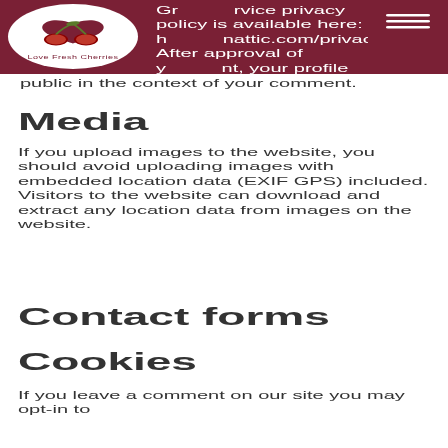Gr... service privacy policy is available here: h...nattic.com/privacy/. After approval of y...nt, your profile picture is visible to the public in the context of your comment.
Media
If you upload images to the website, you should avoid uploading images with embedded location data (EXIF GPS) included. Visitors to the website can download and extract any location data from images on the website.
Contact forms
Cookies
If you leave a comment on our site you may opt-in to